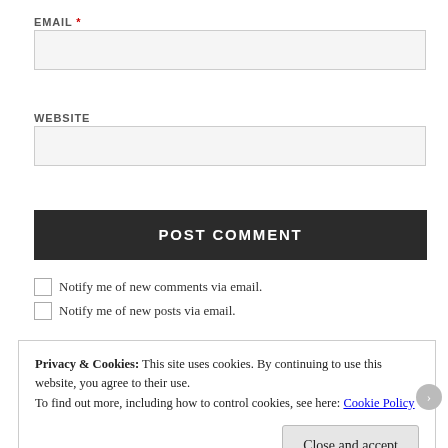EMAIL *
[Figure (other): Email text input field (empty, light gray background)]
WEBSITE
[Figure (other): Website text input field (empty, light gray background)]
POST COMMENT
Notify me of new comments via email.
Notify me of new posts via email.
Privacy & Cookies: This site uses cookies. By continuing to use this website, you agree to their use. To find out more, including how to control cookies, see here: Cookie Policy
Close and accept